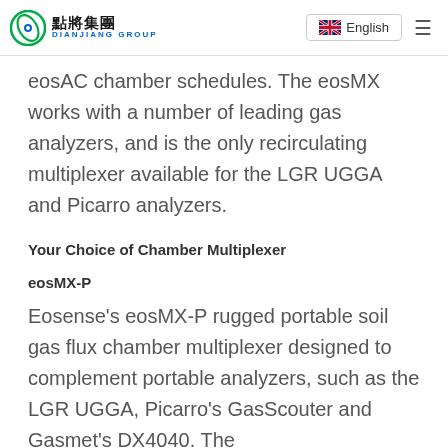點將集團 DIANJIANG GROUP | English
eosAC chamber schedules. The eosMX works with a number of leading gas analyzers, and is the only recirculating multiplexer available for the LGR UGGA and Picarro analyzers.
Your Choice of Chamber Multiplexer
eosMX-P
Eosense's eosMX-P rugged portable soil gas flux chamber multiplexer designed to complement portable analyzers, such as the LGR UGGA, Picarro's GasScouter and Gasmet's DX4040. The